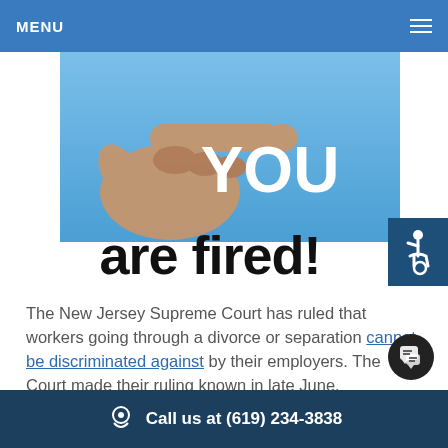MENU
[Figure (photo): A hand pointing finger with text 'YOU' on blue sky background]
are fired!
The New Jersey Supreme Court has ruled that workers going through a divorce or separation cannot be discriminated against by their employers. The Court made their ruling known in late June.
Call us at (619) 234-3838